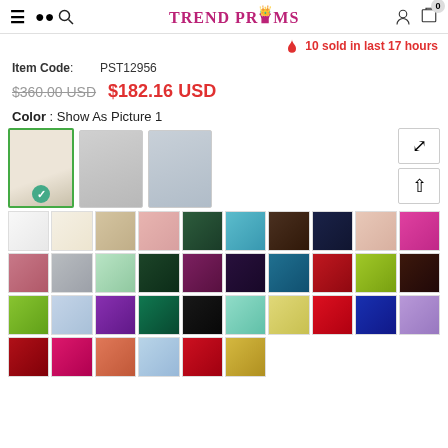TREND PROMS
10 sold in last 17 hours
Item Code: PST12956
$360.00 USD  $182.16 USD
Color : Show As Picture 1
[Figure (photo): Three dress thumbnail images showing prom dress styles, first selected with green checkmark. Color swatch grid showing approximately 36 fabric color options.]